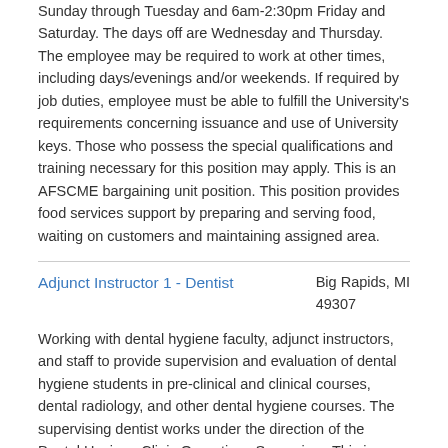Sunday through Tuesday and 6am-2:30pm Friday and Saturday. The days off are Wednesday and Thursday. The employee may be required to work at other times, including days/evenings and/or weekends. If required by job duties, employee must be able to fulfill the University's requirements concerning issuance and use of University keys. Those who possess the special qualifications and training necessary for this position may apply. This is an AFSCME bargaining unit position. This position provides food services support by preparing and serving food, waiting on customers and maintaining assigned area.
Adjunct Instructor 1 - Dentist
Big Rapids, MI 49307
Working with dental hygiene faculty, adjunct instructors, and staff to provide supervision and evaluation of dental hygiene students in pre-clinical and clinical courses, dental radiology, and other dental hygiene courses. The supervising dentist works under the direction of the Dental Hygiene Clinic Operations Supervisor. This is a pooled position. One or more applicants may be hired as needed to teach classes on a